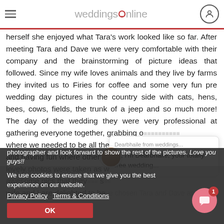weddingsonline
herself she enjoyed what Tara’s work looked like so far. After meeting Tara and Dave we were very comfortable with their company and the brainstorming of picture ideas that followed. Since my wife loves animals and they live by farms they invited us to Firies for coffee and some very fun pre wedding day pictures in the country side with cats, hens, bees, cows, fields, the trunk of a jeep and so much more! The day of the wedding they were very professional at gathering everyone together, grabbing o... where we needed to be all the... and having fun where otherwi... lovely photos were taken as w... awesome pics that they... wife and I are delighted to have chosen Tara and Dave as our
[Figure (other): Chat popup with avatar showing Dearbhaile from weddings... Hi, I'm Dearbhaile, your totally free wedding...]
photographer and look forward to show the rest of the pictures. Love you guys!!
Tara Donoghue Photography
We use cookies to ensure that we give you the best experience on our website. Privacy Policy  Terms & Conditions  OK